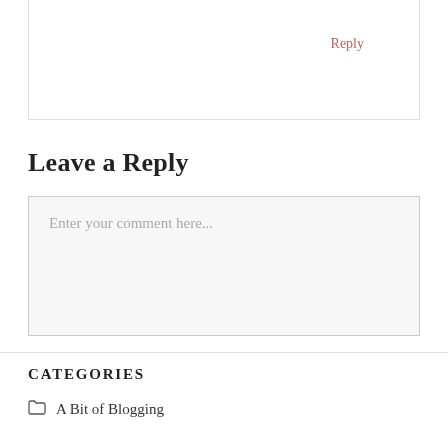Reply
Leave a Reply
Enter your comment here...
CATEGORIES
A Bit of Blogging